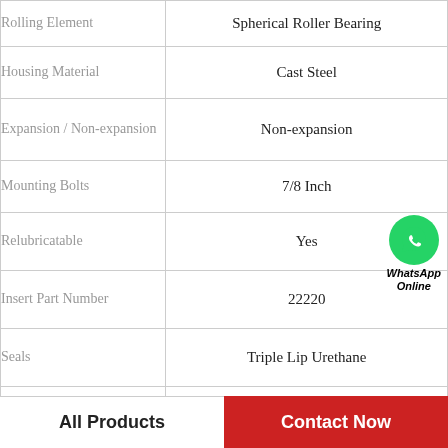| Property | Value |
| --- | --- |
| Rolling Element | Spherical Roller Bearing |
| Housing Material | Cast Steel |
| Expansion / Non-expansion | Non-expansion |
| Mounting Bolts | 7/8 Inch |
| Relubricatable | Yes |
| Insert Part Number | 22220 |
| Seals | Triple Lip Urethane |
| Housing Configuration | 1 Piece Solid |
[Figure (logo): WhatsApp Online contact badge with green phone icon circle and bold italic text 'WhatsApp Online']
All Products
Contact Now